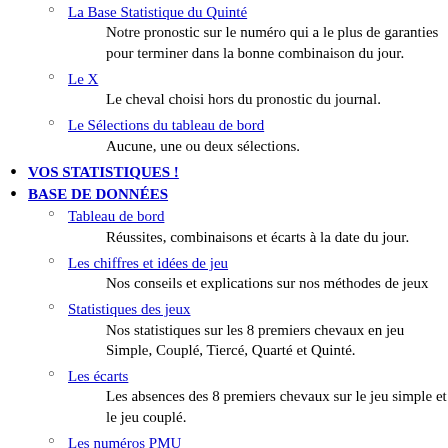La Base Statistique du Quinté
Notre pronostic sur le numéro qui a le plus de garanties pour terminer dans la bonne combinaison du jour.
Le X
Le cheval choisi hors du pronostic du journal.
Le Sélections du tableau de bord
Aucune, une ou deux sélections.
VOS STATISTIQUES !
BASE DE DONNÉES
Tableau de bord
Réussites, combinaisons et écarts à la date du jour.
Les chiffres et idées de jeu
Nos conseils et explications sur nos méthodes de jeux
Statistiques des jeux
Nos statistiques sur les 8 premiers chevaux en jeu Simple, Couplé, Tiercé, Quarté et Quinté.
Les écarts
Les absences des 8 premiers chevaux sur le jeu simple et le jeu couplé.
Les numéros PMU
Les statistiques sur les arrivées (Gagnant, placé, Q4, Q5) des numéros PMU.
Testez la BSQ
Notre Base Statistique du Quinté sur les 150 dernières courses.
ANNUAIRE